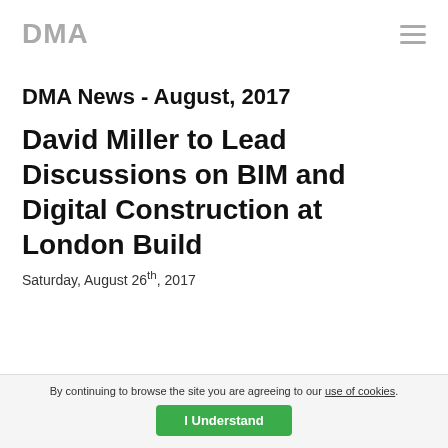DMA
DMA News - August, 2017
David Miller to Lead Discussions on BIM and Digital Construction at London Build
Saturday, August 26th, 2017
By continuing to browse the site you are agreeing to our use of cookies. I Understand